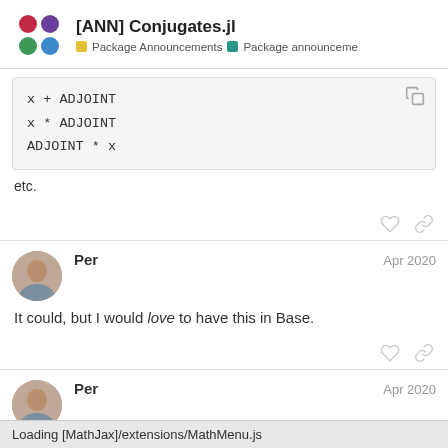[ANN] Conjugates.jl — Package Announcements — Package announceme
[Figure (screenshot): Code block showing: x + ADJOINT / x * ADJOINT / ADJOINT * x]
etc.
Per  Apr 2020
It could, but I would love to have this in Base.
Per  Apr 2020
Loading [MathJax]/extensions/MathMenu.js